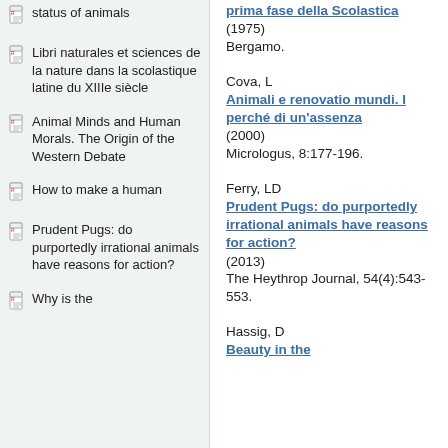status of animals
Libri naturales et sciences de la nature dans la scolastique latine du XIIIe siècle
Animal Minds and Human Morals. The Origin of the Western Debate
How to make a human
Prudent Pugs: do purportedly irrational animals have reasons for action?
Why is the
prima fase della Scolastica (1975) Bergamo.
Cova, L
Animali e renovatio mundi. I perché di un'assenza (2000) Micrologus, 8:177-196.
Ferry, LD
Prudent Pugs: do purportedly irrational animals have reasons for action? (2013) The Heythrop Journal, 54(4):543-553.
Hassig, D
Beauty in the